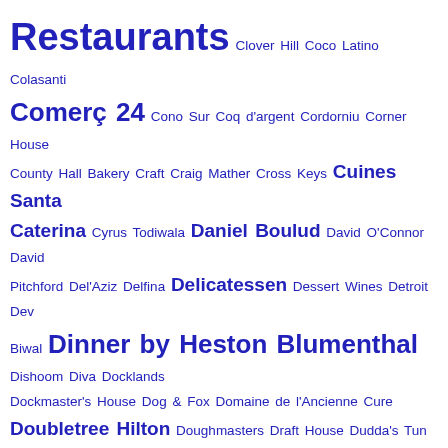Restaurants Clover Hill Coco Latino Colasanti Comerç 24 Cono Sur Coq d'argent Cordorniu Corner House County Hall Bakery Craft Craig Mather Cross Keys Cuines Santa Caterina Cyrus Todiwala Daniel Boulud David O'Connor David Pitchford Del'Aziz Delfina Delicatessen Dessert Wines Detroit Dev Biwal Dinner by Heston Blumenthal Dishoom Diva Docklands Dockmaster's House Dog & Fox Domaine de l'Ancienne Cure Doubletree Hilton Doughmasters Draft House Dudda's Tun Duffys Dylan Hotel East Coast Dining Room East Kent College Eddie Gilberts El Bandito el Bulli El Celler De Can Roca El Coto de Rioja El Dorado Rum Eleven Madison Park El Jardi El Raval Eminent Wines Enoteca Pinchiorri Eric Chavot Eric Frechon EV Exmouth Market Farmhouse Kitchen Fat Duck Faux gourmet Fig & Olive Fine Wines Direct UK Fiona Sciolti FiverFest Flavours by Kumar Flon Foliage Fontaine Decorative Foodies Foodies Festival Fort